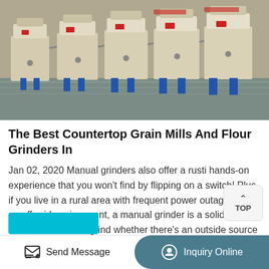[Figure (photo): Industrial grain mill / flour grinder machines lined up in a factory floor, cream/beige colored units with blue metal stands, multiple units in a row on a reflective floor]
The Best Countertop Grain Mills And Flour Grinders In
Jan 02, 2020 Manual grinders also offer a rusti hands-on experience that you won't find by flipping on a switch! Plus, if you live in a rural area with frequent power outages or in an off-grid environment, a manual grinder is a solid option – it will continue to grind whether there's an outside source of